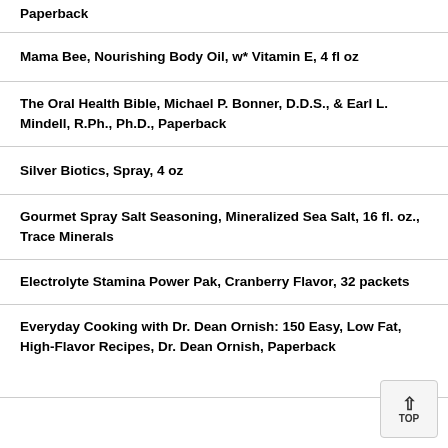Paperback
Mama Bee, Nourishing Body Oil, w* Vitamin E, 4 fl oz
The Oral Health Bible, Michael P. Bonner, D.D.S., & Earl L. Mindell, R.Ph., Ph.D., Paperback
Silver Biotics, Spray, 4 oz
Gourmet Spray Salt Seasoning, Mineralized Sea Salt, 16 fl. oz., Trace Minerals
Electrolyte Stamina Power Pak, Cranberry Flavor, 32 packets
Everyday Cooking with Dr. Dean Ornish: 150 Easy, Low Fat, High-Flavor Recipes, Dr. Dean Ornish, Paperback